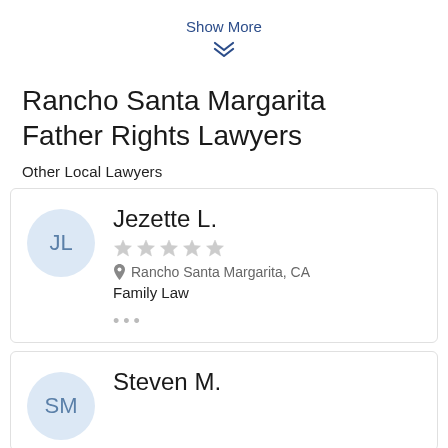Show More
❮❮
Rancho Santa Margarita Father Rights Lawyers
Other Local Lawyers
[Figure (other): Lawyer card for Jezette L. with initials JL avatar, 2-star rating, location Rancho Santa Margarita CA, practice area Family Law, and ellipsis menu]
[Figure (other): Partial lawyer card for Steven M. with initials SM avatar]